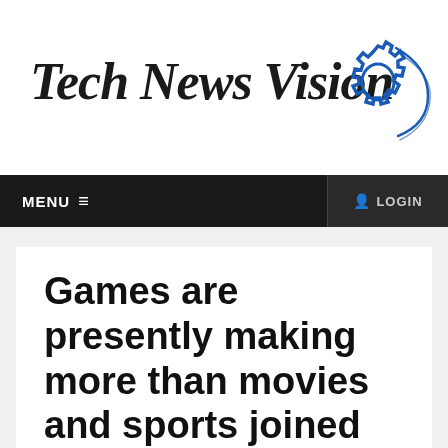Tech News Vision
MENU  LOGIN
Games are presently making more than movies and sports joined
by Raeesa Sayyad | @ | December 24, 2020 6:33 am
[Figure (other): Social media share buttons: Twitter, Facebook, Google+, LinkedIn, Pinterest]